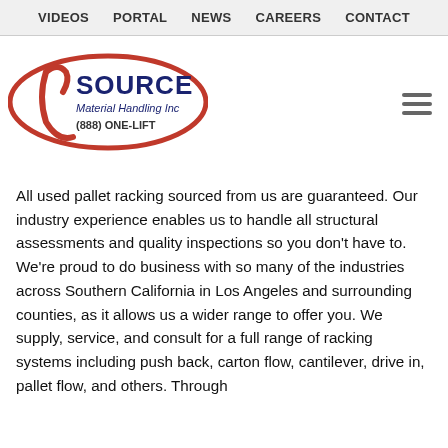VIDEOS   PORTAL   NEWS   CAREERS   CONTACT
[Figure (logo): 1 Source Material Handling Inc logo with red oval and blue text, phone number (888) ONE-LIFT]
All used pallet racking sourced from us are guaranteed. Our industry experience enables us to handle all structural assessments and quality inspections so you don't have to. We're proud to do business with so many of the industries across Southern California in Los Angeles and surrounding counties, as it allows us a wider range to offer you. We supply, service, and consult for a full range of racking systems including push back, carton flow, cantilever, drive in, pallet flow, and others. Through